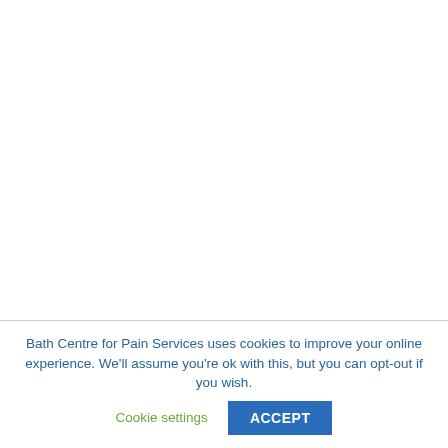Bath Centre for Pain Services uses cookies to improve your online experience. We'll assume you're ok with this, but you can opt-out if you wish. Cookie settings ACCEPT